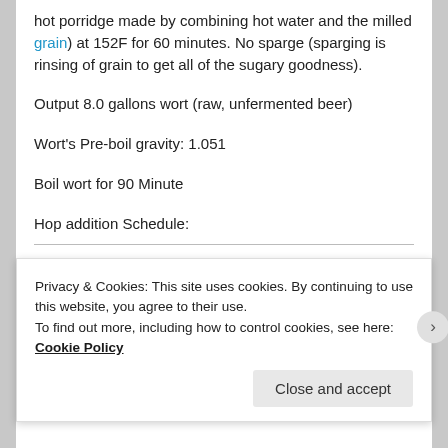hot porridge made by combining hot water and the milled grain) at 152F for 60 minutes. No sparge (sparging is rinsing of grain to get all of the sugary goodness).
Output 8.0 gallons wort (raw, unfermented beer)
Wort's Pre-boil gravity: 1.051
Boil wort for 90 Minute
Hop addition Schedule:
Simcoe 0.80 oz … 60 Min From End
Privacy & Cookies: This site uses cookies. By continuing to use this website, you agree to their use.
To find out more, including how to control cookies, see here: Cookie Policy